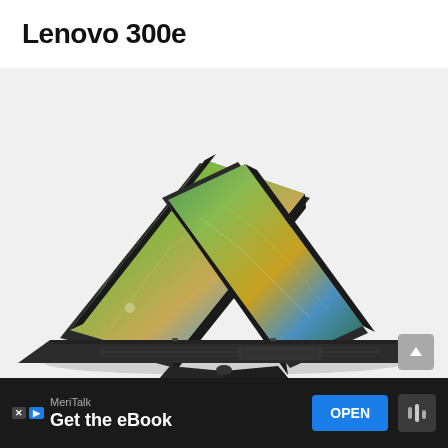Lenovo 300e
[Figure (photo): Lenovo 300e Chromebook 2-in-1 laptop shown in tent mode, with two screens visible back-to-back forming an X/tent shape, dark gray chassis, keyboard visible on one side, colorful map/terrain wallpaper on both screens]
[Figure (screenshot): Advertisement banner at bottom: MeriTalk 'Get the eBook' with blue OPEN button, dark background, weather widget icon on right, ad attribution badges on left (X, D)]